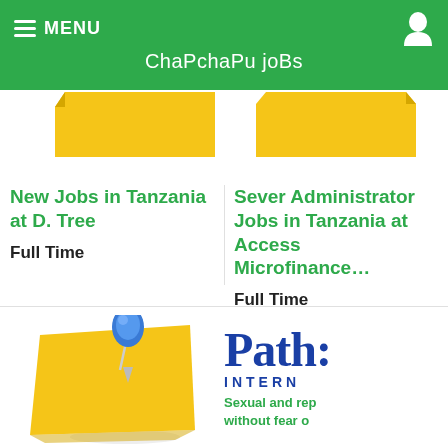ChaPchaPu joBs
[Figure (illustration): Yellow sticky note (partially visible, top portion cut off) on left side]
[Figure (illustration): Yellow sticky note (partially visible, top portion cut off) on right side]
New Jobs in Tanzania at D. Tree
Full Time
Sever Administrator Jobs in Tanzania at Access Microfinance…
Full Time
[Figure (illustration): Yellow sticky note with a blue push pin on it]
[Figure (logo): Path: INTERNATIONAL logo with tagline 'Sexual and rep... without fear o...']